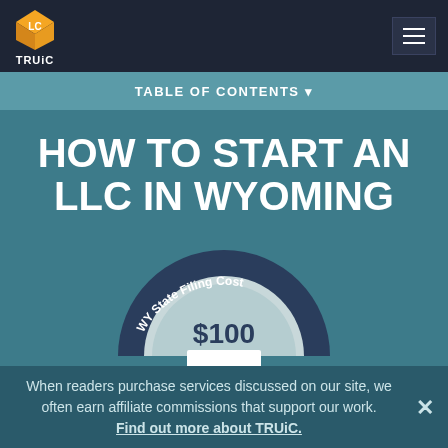[Figure (logo): TRUiC logo - orange 3D cube with LC letters and TRUiC text below]
TABLE OF CONTENTS ▾
HOW TO START AN LLC IN WYOMING
[Figure (infographic): Semicircle gauge showing WY State Filing Cost of $100 with a white rectangle at the bottom center]
When readers purchase services discussed on our site, we often earn affiliate commissions that support our work. Find out more about TRUiC.